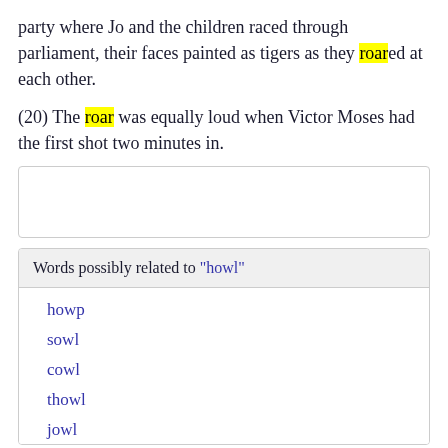party where Jo and the children raced through parliament, their faces painted as tigers as they roared at each other.
(20) The roar was equally loud when Victor Moses had the first shot two minutes in.
[Figure (other): Empty white box with light grey border]
| Words possibly related to "howl" |
| --- |
| howp |
| sowl |
| cowl |
| thowl |
| jowl |